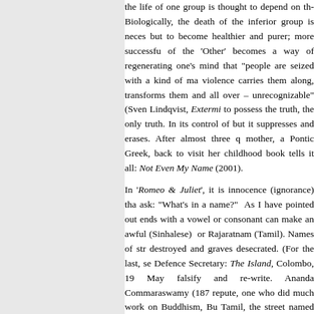the life of one group is thought to depend on the Biologically, the death of the inferior group is neces but to become healthier and purer; more successful of the 'Other' becomes a way of regenerating one's mind that "people are seized with a kind of mad violence carries them along, transforms them and all over – unrecognizable" (Sven Lindqvist, Extermi to possess the truth, the only truth. In its control of but it suppresses and erases. After almost three q mother, a Pontic Greek, back to visit her childhood book tells it all: Not Even My Name (2001).
In 'Romeo & Juliet', it is innocence (ignorance) that ask: "What's in a name?" As I have pointed out e ends with a vowel or consonant can make an awful (Sinhalese) or Rajaratnam (Tamil). Names of str destroyed and graves desecrated. (For the last, se Defence Secretary: The Island, Colombo, 19 May falsify and re-write. Ananda Commaraswamy (187 repute, one who did much work on Buddhism, Buc Tamil, the street named after him is now 'Nelum Po message from a friend in Colombo (August 2 vandalised twice in recent times, a few months ago It reveals the sheer hatred in the populace of all symbols".
"Most people in the South are ignorant of the true st the others are just indifferent. Yours sorrowfully, An a (Sinhalese) friend, 6 August 2012. The outside w the annihilation of the Tigers, there's now peace Compassionate Buddha. But what is the nature of